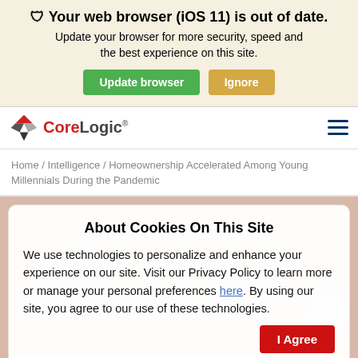🛡 Your web browser (iOS 11) is out of date. Update your browser for more security, speed and the best experience on this site.
Update browser | Ignore
[Figure (logo): CoreLogic logo with red diamond/cube shape and CoreLogic text]
Home / Intelligence / Homeownership Accelerated Among Young Millennials During the Pandemic
About Cookies On This Site
We use technologies to personalize and enhance your experience on our site. Visit our Privacy Policy to learn more or manage your personal preferences here. By using our site, you agree to our use of these technologies.
I Agree